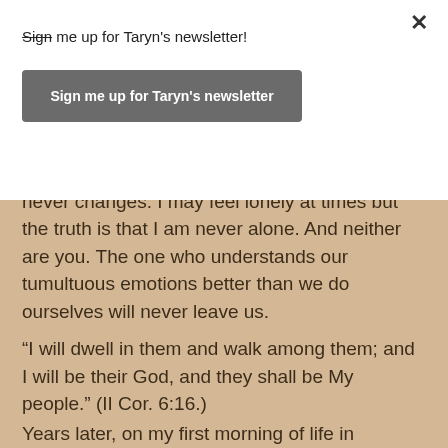Sign me up for Taryn's newsletter!
Sign me up for Taryn's newsletter
and upside down, He is the one constant who never changes. I may feel lonely at times but the truth is that I am never alone. And neither are you. The one who understands our tumultuous emotions better than we do ourselves will never leave us.
“I will dwell in them and walk among them; and I will be their God, and they shall be My people.” (II Cor. 6:16.)
Years later, on my first morning of life in